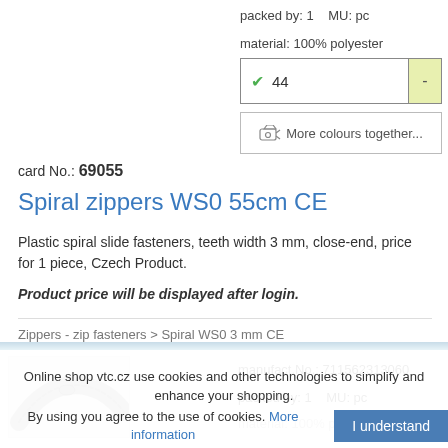packed by: 1   MU: pc
material: 100% polyester
✓ 44
🛒 More colours together...
card No.: 69055
Spiral zippers WS0 55cm CE
Plastic spiral slide fasteners, teeth width 3 mm, close-end, price for 1 piece, Czech Product.
Product price will be displayed after login.
Zippers - zip fasteners > Spiral WS0 3 mm CE
[Figure (photo): Grey spiral zipper/zip fastener product photo]
manufact.No.: 711562313060
packed by: 1   MU: pc
material: 100% polyester
Online shop vtc.cz use cookies and other technologies to simplify and enhance your shopping.
By using you agree to the use of cookies. More information
I understand